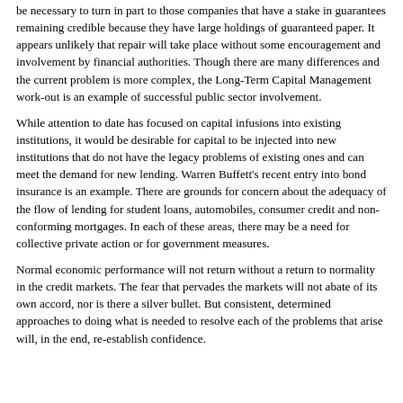be necessary to turn in part to those companies that have a stake in guarantees remaining credible because they have large holdings of guaranteed paper. It appears unlikely that repair will take place without some encouragement and involvement by financial authorities. Though there are many differences and the current problem is more complex, the Long-Term Capital Management work-out is an example of successful public sector involvement.
While attention to date has focused on capital infusions into existing institutions, it would be desirable for capital to be injected into new institutions that do not have the legacy problems of existing ones and can meet the demand for new lending. Warren Buffett's recent entry into bond insurance is an example. There are grounds for concern about the adequacy of the flow of lending for student loans, automobiles, consumer credit and non-conforming mortgages. In each of these areas, there may be a need for collective private action or for government measures.
Normal economic performance will not return without a return to normality in the credit markets. The fear that pervades the markets will not abate of its own accord, nor is there a silver bullet. But consistent, determined approaches to doing what is needed to resolve each of the problems that arise will, in the end, re-establish confidence.